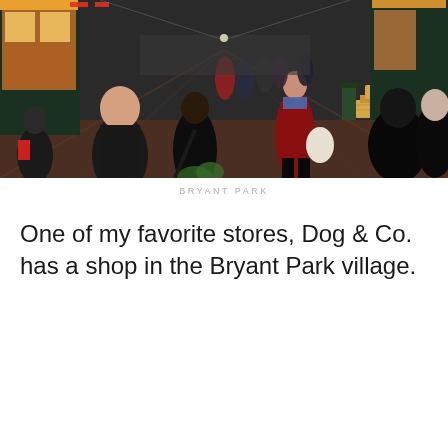[Figure (photo): A busy outdoor pedestrian market corridor lined with shops on both sides, crowded with people walking. Shot from below looking down the passage. Features a woman in a red coat prominently in the center-right, wooden benches or platforms visible at right. Green shop fronts with lights, brick flooring. Winter scene with people in dark coats and winter wear.]
BRYANT PARK
One of my favorite stores, Dog & Co. has a shop in the Bryant Park village.